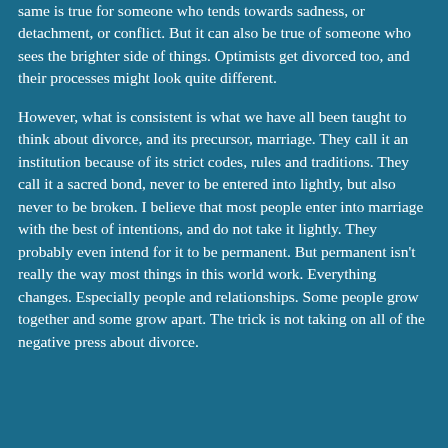same is true for someone who tends towards sadness, or detachment, or conflict. But it can also be true of someone who sees the brighter side of things. Optimists get divorced too, and their processes might look quite different.
However, what is consistent is what we have all been taught to think about divorce, and its precursor, marriage. They call it an institution because of its strict codes, rules and traditions. They call it a sacred bond, never to be entered into lightly, but also never to be broken. I believe that most people enter into marriage with the best of intentions, and do not take it lightly. They probably even intend for it to be permanent. But permanent isn't really the way most things in this world work. Everything changes. Especially people and relationships. Some people grow together and some grow apart. The trick is not taking on all of the negative press about divorce.